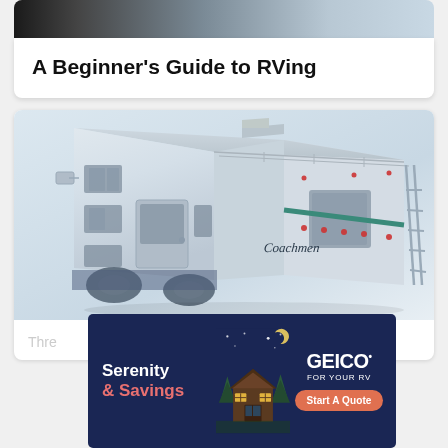[Figure (photo): Top portion of an RV/camper vehicle photo card, showing a dark/silhouette image at the top]
A Beginner’s Guide to RVing
[Figure (photo): 3D render of a white Coachmen class C motorhome RV, shown from a front-right angle, set against a light background]
Thre
[Figure (advertisement): GEICO insurance advertisement with dark navy background. Left side: 'Serenity & Savings' in white and red text. Center: illustrated cabin/house at night with stars and crescent moon. Right side: GEICO logo with 'FOR YOUR RV' text and 'Start A Quote' orange button.]